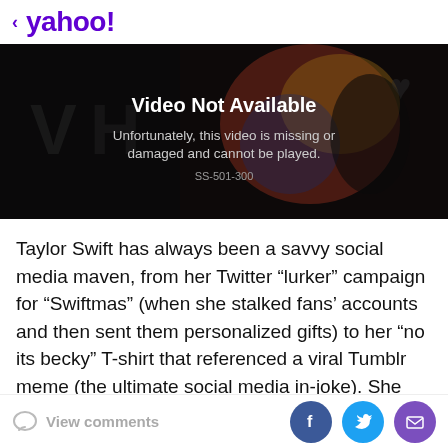< yahoo!
[Figure (screenshot): Video Not Available placeholder with dark background. Text reads: 'Video Not Available. Unfortunately, this video is missing or damaged and cannot be played. SS-501-300']
Taylor Swift has always been a savvy social media maven, from her Twitter “lurker” campaign for “Swiftmas” (when she stalked fans' accounts and then sent them personalized gifts) to her “no its becky” T-shirt that referenced a viral Tumblr meme (the ultimate social media in-joke). She also regularly fills her music videos
View comments